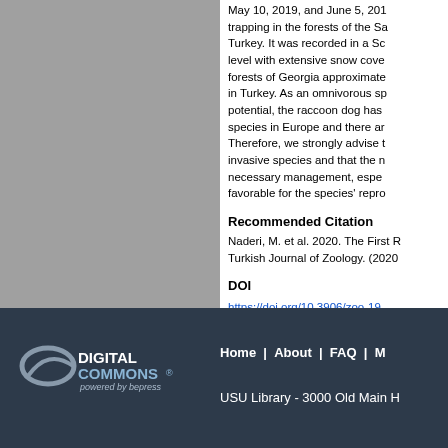May 10, 2019, and June 5, 201... trapping in the forests of the Sa... Turkey. It was recorded in a Sc... level with extensive snow cove... forests of Georgia approximate... in Turkey. As an omnivorous sp... potential, the raccoon dog has ... species in Europe and there ar... Therefore, we strongly advise ... invasive species and that the n... necessary management, espe... favorable for the species' repro...
Recommended Citation
Naderi, M. et al. 2020. The First R... Turkish Journal of Zoology. (2020...
DOI
https://doi.org/10.3906/zoo-19...
Home | About | FAQ | M... USU Library - 3000 Old Main H...